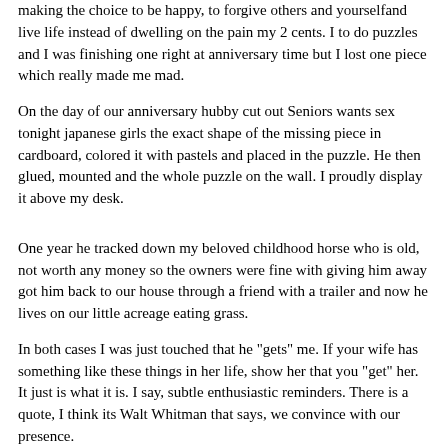making the choice to be happy, to forgive others and yourselfand live life instead of dwelling on the pain my 2 cents. I to do puzzles and I was finishing one right at anniversary time but I lost one piece which really made me mad.
On the day of our anniversary hubby cut out Seniors wants sex tonight japanese girls the exact shape of the missing piece in cardboard, colored it with pastels and placed in the puzzle. He then glued, mounted and the whole puzzle on the wall. I proudly display it above my desk.
One year he tracked down my beloved childhood horse who is old, not worth any money so the owners were fine with giving him away got him back to our house through a friend with a trailer and now he lives on our little acreage eating grass.
In both cases I was just touched that he "gets" me. If your wife has something like these things in her life, show her that you "get" her. It just is what it is. I say, subtle enthusiastic reminders. There is a quote, I think its Walt Whitman that says, we convince with our presence.
He likes to watch you do this though right? Have you tired the of